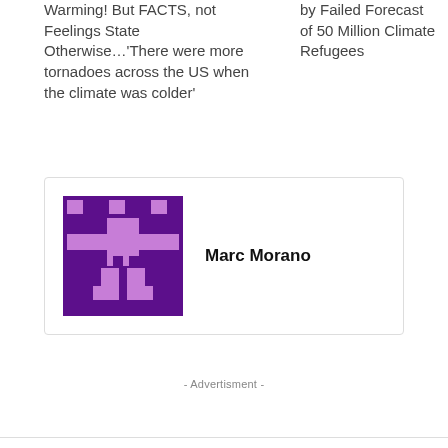Warming! But FACTS, not Feelings State Otherwise…'There were more tornadoes across the US when the climate was colder'
by Failed Forecast of 50 Million Climate Refugees
[Figure (illustration): Pixelated purple avatar icon for Marc Morano, showing a stylized figure on a dark purple background with lighter purple pixel art design]
Marc Morano
- Advertisment -